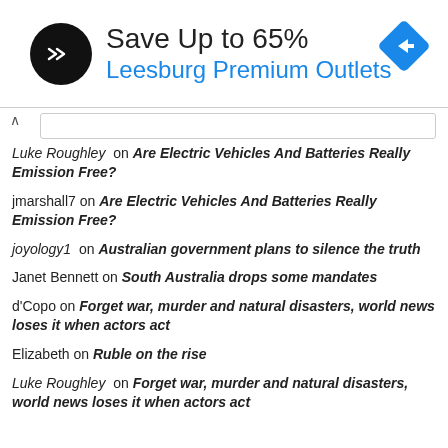[Figure (infographic): Advertisement banner: black circular logo with double arrow icon, text 'Save Up to 65%' and 'Leesburg Premium Outlets' in blue, blue diamond navigation arrow icon top right]
Luke Roughley on Are Electric Vehicles And Batteries Really Emission Free?
jmarshall7 on Are Electric Vehicles And Batteries Really Emission Free?
joyology1 on Australian government plans to silence the truth
Janet Bennett on South Australia drops some mandates
d'Copo on Forget war, murder and natural disasters, world news loses it when actors act
Elizabeth on Ruble on the rise
Luke Roughley on Forget war, murder and natural disasters, world news loses it when actors act